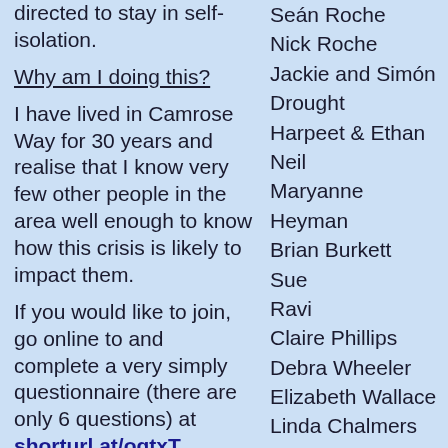directed to stay in self-isolation.
Why am I doing this?
I have lived in Camrose Way for 30 years and realise that I know very few other people in the area well enough to know how this crisis is likely to impact them.
If you would like to join, go online to and complete a very simply questionnaire (there are only 6 questions) at shorturl.at/oqtxT
Alternatively, please
Seán Roche
Nick Roche
Jackie and Simón Drought
Harpeet & Ethan Neil
Maryanne Heyman
Brian Burkett
Sue
Ravi
Claire Phillips
Debra Wheeler
Elizabeth Wallace
Linda Chalmers
Barry & Brenda Darling
Pushkarinee